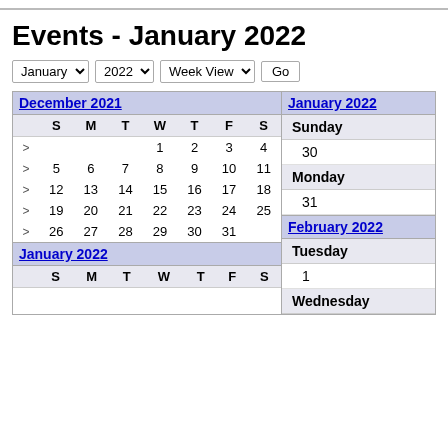Events - January 2022
January 2022 Week View Go [controls]
|  | S | M | T | W | T | F | S |
| --- | --- | --- | --- | --- | --- | --- | --- |
| > |  |  |  | 1 | 2 | 3 | 4 |
| > | 5 | 6 | 7 | 8 | 9 | 10 | 11 |
| > | 12 | 13 | 14 | 15 | 16 | 17 | 18 |
| > | 19 | 20 | 21 | 22 | 23 | 24 | 25 |
| > | 26 | 27 | 28 | 29 | 30 | 31 |  |
|  | S | M | T | W | T | F | S |
| --- | --- | --- | --- | --- | --- | --- | --- |
| Sunday | Monday | Tuesday | Wednesday |
| --- | --- | --- | --- |
| 30 |
| 31 |
| 1 |